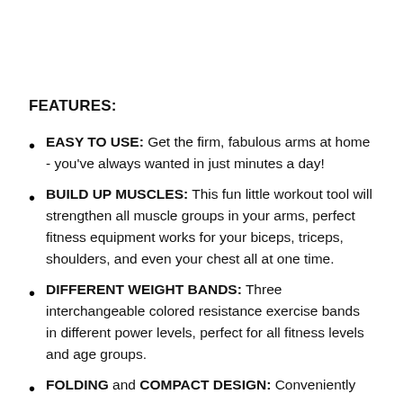FEATURES:
EASY TO USE: Get the firm, fabulous arms at home - you've always wanted in just minutes a day!
BUILD UP MUSCLES: This fun little workout tool will strengthen all muscle groups in your arms, perfect fitness equipment works for your biceps, triceps, shoulders, and even your chest all at one time.
DIFFERENT WEIGHT BANDS: Three interchangeable colored resistance exercise bands in different power levels, perfect for all fitness levels and age groups.
FOLDING and COMPACT DESIGN: Conveniently